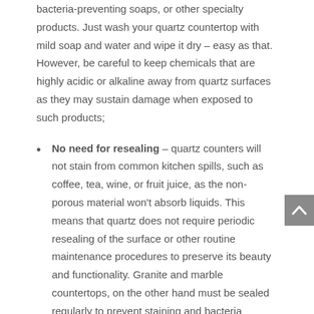bacteria-preventing soaps, or other specialty products. Just wash your quartz countertop with mild soap and water and wipe it dry – easy as that. However, be careful to keep chemicals that are highly acidic or alkaline away from quartz surfaces as they may sustain damage when exposed to such products;
No need for resealing – quartz counters will not stain from common kitchen spills, such as coffee, tea, wine, or fruit juice, as the non-porous material won't absorb liquids. This means that quartz does not require periodic resealing of the surface or other routine maintenance procedures to preserve its beauty and functionality. Granite and marble countertops, on the other hand must be sealed regularly to prevent staining and bacteria growth.